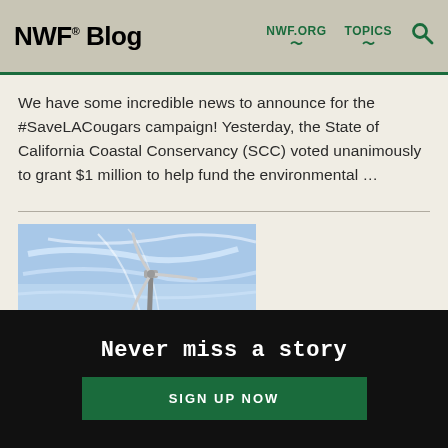NWF® Blog — NWF.ORG  TOPICS  🔍
We have some incredible news to announce for the #SaveLACougars campaign! Yesterday, the State of California Coastal Conservancy (SCC) voted unanimously to grant $1 million to help fund the environmental …
[Figure (photo): Wind turbine against a blue sky with white clouds and contrails]
Never miss a story
SIGN UP NOW